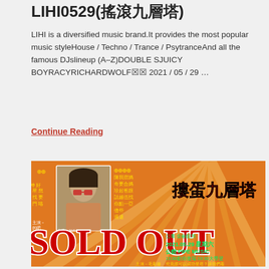LIHI0529(搖滾九層塔)
LIHI is a diversified music brand.It provides the most popular music styleHouse / Techno / Trance / PsytranceAnd all the famous DJslineup (A-Z)DOUBLE SJUICY BOYRACYRICHARDWOLF🔲🔲 2021 / 05 / 29 …
Continue Reading
[Figure (photo): Event poster for a music/theater show featuring 'SOLD OUT' text overlay in red, Chinese characters reading 摟蛋九層塔, date 2021.05.29, venue PIPE MUSIC, with a performer photo and Chinese text overlays on an orange background.]